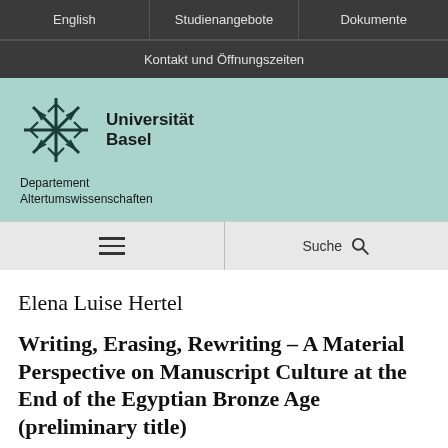English | Studienangebote | Dokumente
Kontakt und Öffnungszeiten
[Figure (logo): Universität Basel logo with snowflake/asterisk symbol and text 'Universität Basel', below: 'Departement Altertumswissenschaften']
≡  Suche
Elena Luise Hertel
Writing, Erasing, Rewriting – A Material Perspective on Manuscript Culture at the End of the Egyptian Bronze Age (preliminary title)